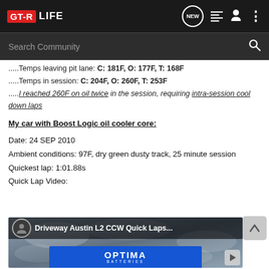GT-R LIFE — Search Community navigation bar
.....Temps leaving pit lane: C: 181F, O: 177F, T: 168F
.....Temps in session: C: 204F, O: 260F, T: 253F
.....I reached 260F on oil twice in the session, requiring intra-session cool down laps
My car with Boost Logic oil cooler core:
Date: 24 SEP 2010
Ambient conditions: 97F, dry green dusty track, 25 minute session
Quickest lap: 1:01.88s
Quick Lap Video:
[Figure (screenshot): Embedded video thumbnail showing 'Driveway Austin L2 CCW Quick Laps...' with Optima Batteries advertisement overlay]